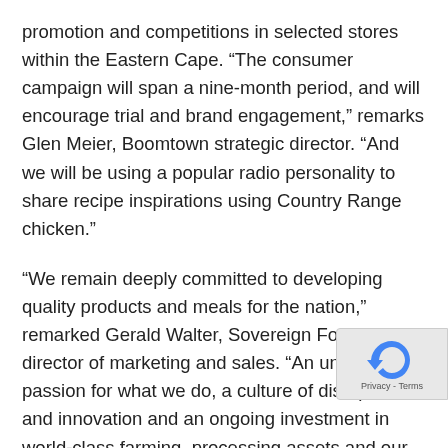promotion and competitions in selected stores within the Eastern Cape. “The consumer campaign will span a nine-month period, and will encourage trial and brand engagement,” remarks Glen Meier, Boomtown strategic director. “And we will be using a popular radio personality to share recipe inspirations using Country Range chicken.”
“We remain deeply committed to developing quality products and meals for the nation,” remarked Gerald Walter, Sovereign Foods director of marketing and sales. “An unrelenting passion for what we do, a culture of disruption and innovation and an ongoing investment in world-class farming, processing assets and our people are unique advantages that shape our growth and trajectory towards being a leader in South Africa in terms of sales volume and product quality.”